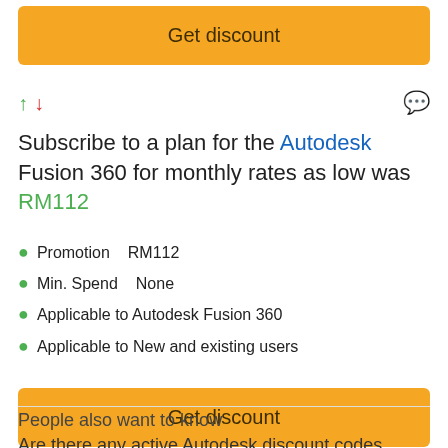[Figure (other): Orange 'Get discount' button at top of page]
Subscribe to a plan for the Autodesk Fusion 360 for monthly rates as low was RM112
Promotion    RM112
Min. Spend   None
Applicable to Autodesk Fusion 360
Applicable to New and existing users
[Figure (other): Orange 'Get discount' button]
People also want to know
Are there any active Autodesk discount codes